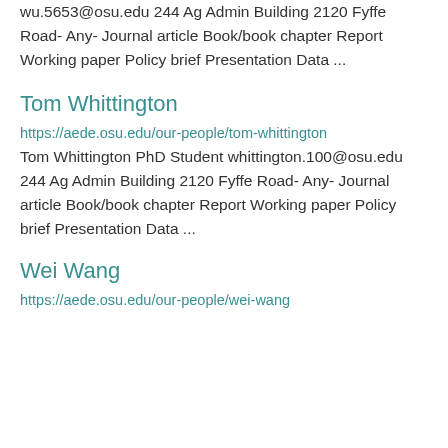wu.5653@osu.edu 244 Ag Admin Building 2120 Fyffe Road- Any- Journal article Book/book chapter Report Working paper Policy brief Presentation Data ...
Tom Whittington
https://aede.osu.edu/our-people/tom-whittington
Tom Whittington PhD Student whittington.100@osu.edu 244 Ag Admin Building 2120 Fyffe Road- Any- Journal article Book/book chapter Report Working paper Policy brief Presentation Data ...
Wei Wang
https://aede.osu.edu/our-people/wei-wang